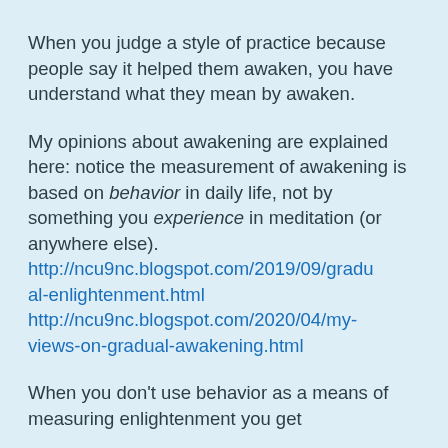When you judge a style of practice because people say it helped them awaken, you have understand what they mean by awaken.
My opinions about awakening are explained here: notice the measurement of awakening is based on behavior in daily life, not by something you experience in meditation (or anywhere else). http://ncu9nc.blogspot.com/2019/09/gradual-enlightenment.html http://ncu9nc.blogspot.com/2020/04/my-views-on-gradual-awakening.html
When you don't use behavior as a means of measuring enlightenment you get